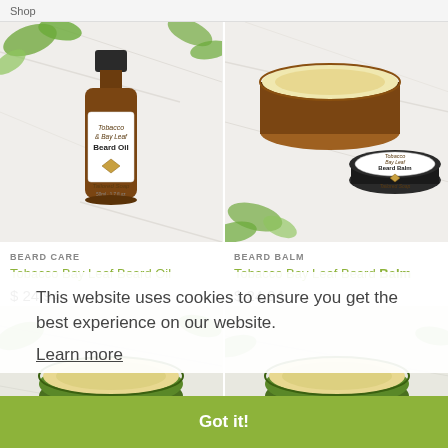Shop
[Figure (photo): Amber glass bottle of Tobacco & Bay Leaf Beard Oil by Tailored Soap, on marble surface with green leaves]
[Figure (photo): Amber jar open with lid showing Tobacco Bay Leaf Beard Balm by Tailored Soap, on marble surface]
BEARD CARE
Tobacco Bay Leaf Beard Oil
$ 24.94
BEARD BALM
Tobacco Bay Leaf Beard Balm
$ 24.94
[Figure (photo): Partial view of green jar with beard balm product, bottom left]
[Figure (photo): Partial view of green jar with beard balm product, bottom right]
This website uses cookies to ensure you get the best experience on our website.
Learn more
Got it!